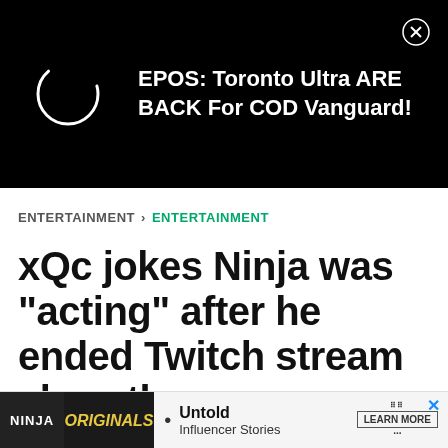[Figure (screenshot): Black advertisement banner with loading circle and text: EPOS: Toronto Ultra ARE BACK For COD Vanguard! with close button]
ENTERTAINMENT > ENTERTAINMENT
xQc jokes Ninja was “acting” after he ended Twitch stream abruptly
Lawrence Scotti . Last updated: Sep 02, 2022
[Figure (screenshot): Bottom advertisement banner with NINJA label, Originals logo, bullet point, Untold Influencer Stories text, and LEARN MORE button]